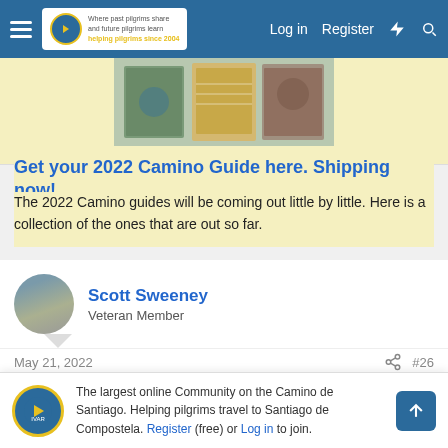Navigation bar with logo, Log in, Register links
[Figure (screenshot): Ad banner showing Camino Guide books image]
Get your 2022 Camino Guide here. Shipping now!
The 2022 Camino guides will be coming out little by little. Here is a collection of the ones that are out so far.
Scott Sweeney
Veteran Member
May 21, 2022  #26
Kasee said: ↑
I see that there is a list of alberques for the Camino Frances. Is there
The largest online Community on the Camino de Santiago. Helping pilgrims travel to Santiago de Compostela. Register (free) or Log in to join.